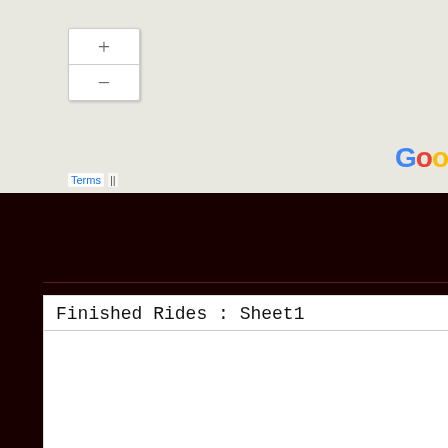[Figure (screenshot): Google Maps interface showing map area with zoom controls (+/-) and Terms link at bottom left, Google logo partially visible at right]
Terms  ||
Finished Rides : Sheet1